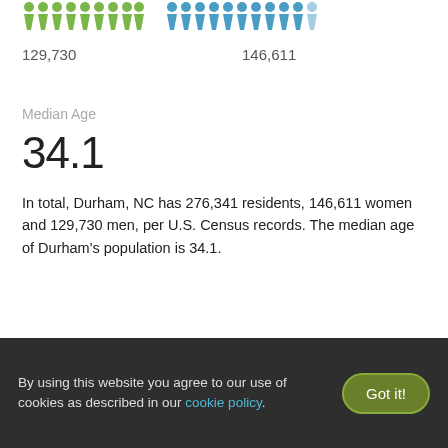[Figure (infographic): Row of person icons representing population — green icons on left (men: 129,730), blue/teal icons on right (women: 146,611)]
129,730    146,611
Median Age
34.1
In total, Durham, NC has 276,341 residents, 146,611 women and 129,730 men, per U.S. Census records. The median age of Durham's population is 34.1.
Average Rent in Durham, NC
By using this website you agree to our use of cookies as described in our cookie policy.